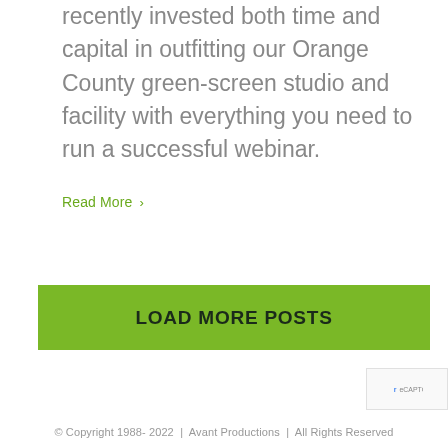recently invested both time and capital in outfitting our Orange County green-screen studio and facility with everything you need to run a successful webinar.
Read More >
LOAD MORE POSTS
© Copyright 1988- 2022  |  Avant Productions  |  All Rights Reserved